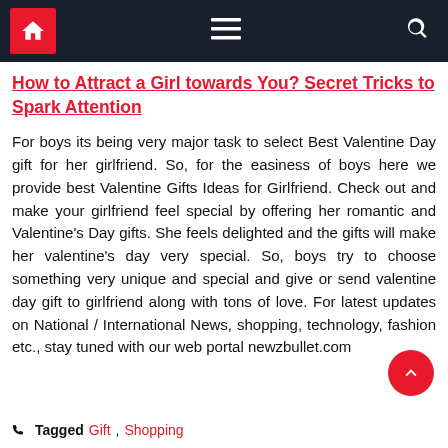Navigation bar with home, menu, and search icons
How to Attract a Girl towards You? Secret Tricks to Spark Attention
For boys its being very major task to select Best Valentine Day gift for her girlfriend. So, for the easiness of boys here we provide best Valentine Gifts Ideas for Girlfriend. Check out and make your girlfriend feel special by offering her romantic and Valentine's Day gifts. She feels delighted and the gifts will make her valentine's day very special. So, boys try to choose something very unique and special and give or send valentine day gift to girlfriend along with tons of love. For latest updates on National / International News, shopping, technology, fashion etc., stay tuned with our web portal newzbullet.com
Tagged Gift, Shopping